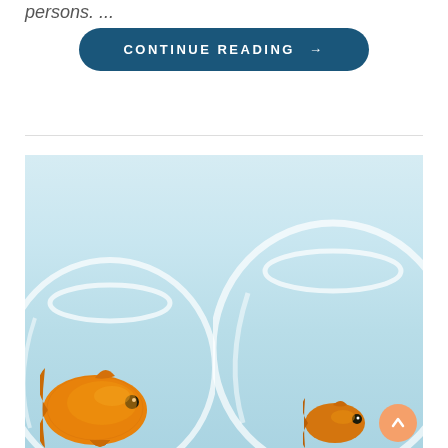persons. ...
CONTINUE READING →
[Figure (photo): Two goldfish in separate round glass fishbowls against a light blue background. A larger goldfish is visible in the left bowl and a smaller goldfish in the right bowl.]